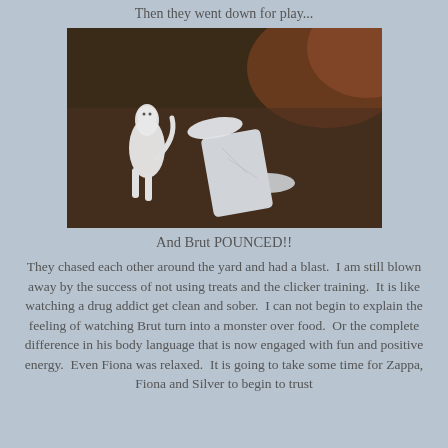Then they went down for play...
[Figure (photo): A white cat or dog approaching a knocked-over white plastic container on dirt/ground, with blurry brown background]
And Brut POUNCED!!
They chased each other around the yard and had a blast.  I am still blown away by the success of not using treats and the clicker training.  It is like watching a drug addict get clean and sober.  I can not begin to explain the feeling of watching Brut turn into a monster over food.  Or the complete difference in his body language that is now engaged with fun and positive energy.  Even Fiona was relaxed.  It is going to take some time for Zappa, Fiona and Silver to begin to trust